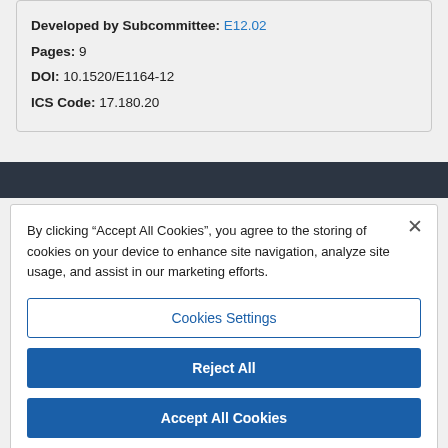Developed by Subcommittee: E12.02
Pages: 9
DOI: 10.1520/E1164-12
ICS Code: 17.180.20
By clicking "Accept All Cookies", you agree to the storing of cookies on your device to enhance site navigation, analyze site usage, and assist in our marketing efforts.
Cookies Settings
Reject All
Accept All Cookies